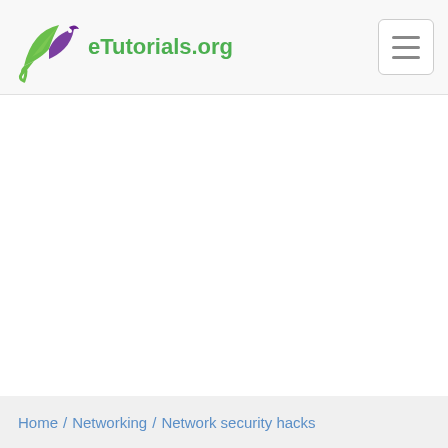eTutorials.org
Home / Networking / Network security hacks